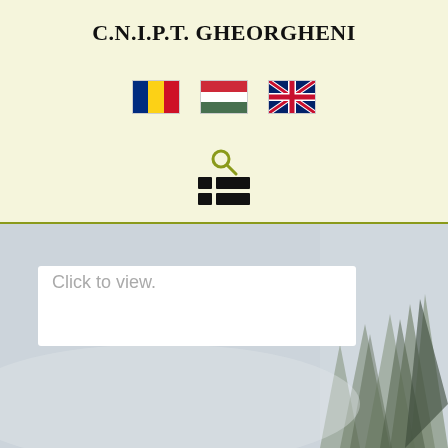C.N.I.P.T. GHEORGHENI
[Figure (screenshot): Website header with Romanian, Hungarian, and UK flags as language selectors, a search icon, and a menu/list icon on a light yellow-cream background. Below is a forest landscape photo with a white card overlay containing the text 'Click to view.']